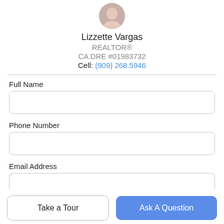[Figure (photo): Circular profile photo of agent Lizzette Vargas, partially cropped at top]
Lizzette Vargas
REALTOR®
CA DRE #01983732
Cell: (909) 268.5946
Full Name
Phone Number
Email Address
Take a Tour
Ask A Question